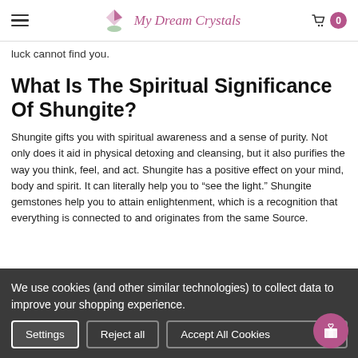My Dream Crystals
luck cannot find you.
What Is The Spiritual Significance Of Shungite?
Shungite gifts you with spiritual awareness and a sense of purity. Not only does it aid in physical detoxing and cleansing, but it also purifies the way you think, feel, and act. Shungite has a positive effect on your mind, body and spirit. It can literally help you to “see the light.” Shungite gemstones help you to attain enlightenment, which is a recognition that everything is connected to and originates from the same Source.
We use cookies (and other similar technologies) to collect data to improve your shopping experience.